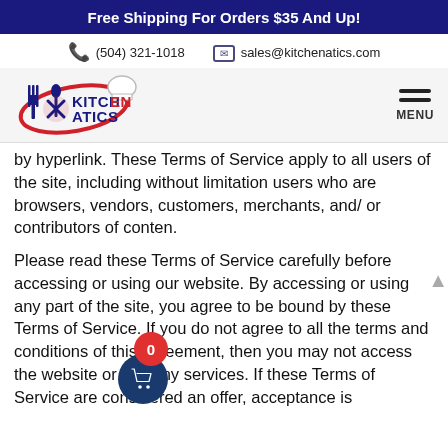Free Shipping For Orders $35 And Up!
(504) 321-1018   sales@kitchenatics.com
[Figure (logo): Kitchenatics logo with chef hat, fork, spoon and circular swoosh design]
by hyperlink. These Terms of Service apply to all users of the site, including without limitation users who are browsers, vendors, customers, merchants, and/ or contributors of conten.
Please read these Terms of Service carefully before accessing or using our website. By accessing or using any part of the site, you agree to be bound by these Terms of Service. If you do not agree to all the terms and conditions of this agreement, then you may not access the website or use any services. If these Terms of Service are considered an offer, acceptance is